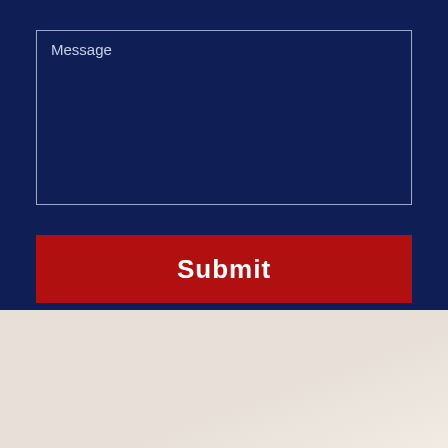Message
[Figure (screenshot): Submit button - red rectangular button with white bold text 'Submit']
RESULTS
[Figure (screenshot): Live chat pill button with attorney avatar, red text 'LIVE CHAT' chevron and dark text 'START NOW']
[Figure (screenshot): reCAPTCHA badge in bottom right corner]